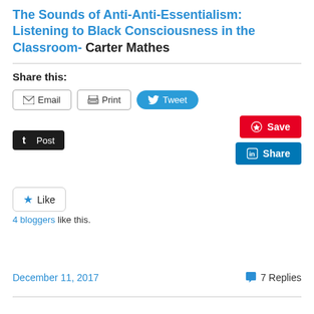The Sounds of Anti-Anti-Essentialism: Listening to Black Consciousness in the Classroom- Carter Mathes
Share this:
Email | Print | Tweet | Post | Save | Share
Like
4 bloggers like this.
December 11, 2017
7 Replies